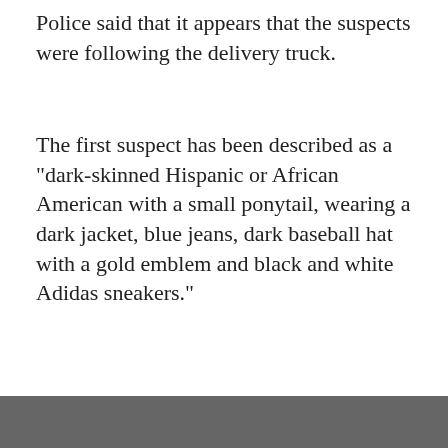Police said that it appears that the suspects were following the delivery truck.
The first suspect has been described as a "dark-skinned Hispanic or African American with a small ponytail, wearing a dark jacket, blue jeans, dark baseball hat with a gold emblem and black and white Adidas sneakers."
FEATURED VIDEOS
[Figure (screenshot): Video thumbnail showing a child using a laptop, with caption 'ONLINE EDUCATION PRIVACY']